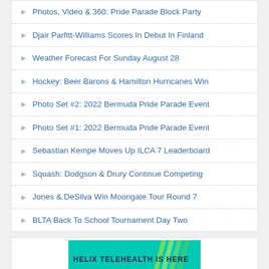Photos, Video & 360: Pride Parade Block Party
Djair Parfitt-Williams Scores In Debut In Finland
Weather Forecast For Sunday August 28
Hockey: Beer Barons & Hamilton Hurricanes Win
Photo Set #2: 2022 Bermuda Pride Parade Event
Photo Set #1: 2022 Bermuda Pride Parade Event
Sebastian Kempe Moves Up ILCA 7 Leaderboard
Squash: Dodgson & Drury Continue Competing
Jones & DeSilva Win Moongate Tour Round 7
BLTA Back To School Tournament Day Two
[Figure (infographic): Advertisement banner with teal/cyan gradient background and bold text reading 'HELIX TELEHEALTH IS HERE']